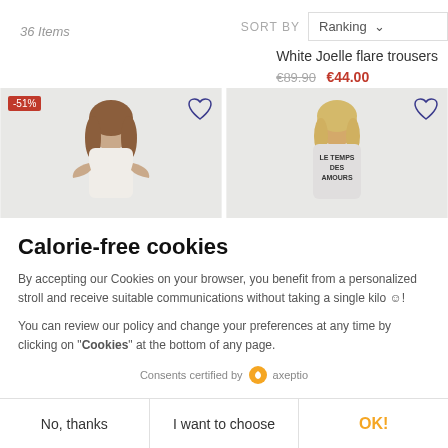36 Items
SORT BY  Ranking
White Joelle flare trousers
€89.90  €44.00
[Figure (photo): Two fashion product photos side by side: left shows a woman in white top with -51% badge and heart icon; right shows a woman in a printed sweatshirt with heart icon]
Calorie-free cookies
By accepting our Cookies on your browser, you benefit from a personalized stroll and receive suitable communications without taking a single kilo ☺!
You can review our policy and change your preferences at any time by clicking on "Cookies" at the bottom of any page.
Consents certified by  axeptio
No, thanks
I want to choose
OK!